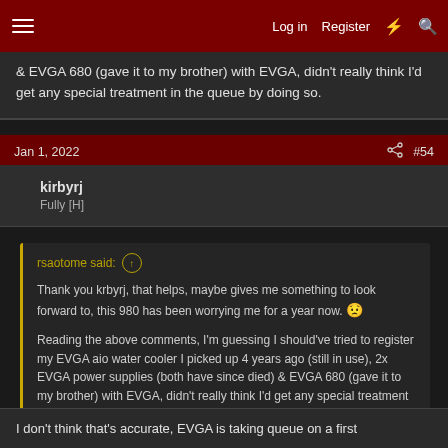Log in  Register
& EVGA 680 (gave it to my brother) with EVGA, didn't really think I'd get any special treatment in the queue by doing so.
Jan 1, 2022  #54
kirbyrj
Fully [H]
rsaotome said:
Thank you krbyrj, that helps, maybe gives me something to look forward to, this 980 has been worrying me for a year now. 😟

Reading the above comments, I'm guessing I should've tried to register my EVGA aio water cooler I picked up 4 years ago (still in use), 2x EVGA power supplies (both have since died) & EVGA 680 (gave it to my brother) with EVGA, didn't really think I'd get any special treatment in the queue by doing so.
I don't think that's accurate, EVGA is taking queue on a first